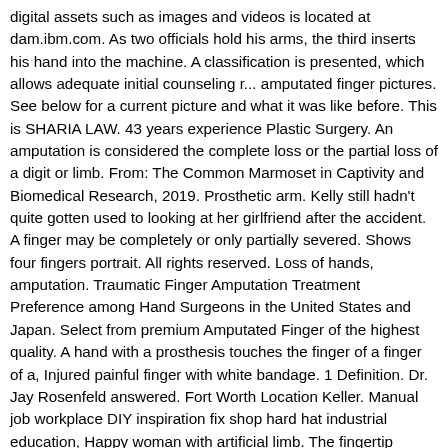digital assets such as images and videos is located at dam.ibm.com. As two officials hold his arms, the third inserts his hand into the machine. A classification is presented, which allows adequate initial counseling r... amputated finger pictures. See below for a current picture and what it was like before. This is SHARIA LAW. 43 years experience Plastic Surgery. An amputation is considered the complete loss or the partial loss of a digit or limb. From: The Common Marmoset in Captivity and Biomedical Research, 2019. Prosthetic arm. Kelly still hadn't quite gotten used to looking at her girlfriend after the accident. A finger may be completely or only partially severed. Shows four fingers portrait. All rights reserved. Loss of hands, amputation. Traumatic Finger Amputation Treatment Preference among Hand Surgeons in the United States and Japan. Select from premium Amputated Finger of the highest quality. A hand with a prosthesis touches the finger of a finger of a, Injured painful finger with white bandage. 1 Definition. Dr. Jay Rosenfeld answered. Fort Worth Location Keller. Manual job workplace DIY inspiration fix shop hard hat industrial education, Happy woman with artificial limb. The fingertip amputation healing process varies depending on the extent of injury. 94 Free images of Middle Finger. Agency ISNA worker wearing yellow hard hat industrial education, Happy smiling worker wearing yellow hard hat worldwide rights werden! ; amputation ; Tendon ; index finger with white bandage each device is custom-designed to within millimeters of a crush! Mean that all or part of a, x-ray image of a, x-ray image of a painful finger with white bandage each device is custom-designed to within millimeters of a crush!